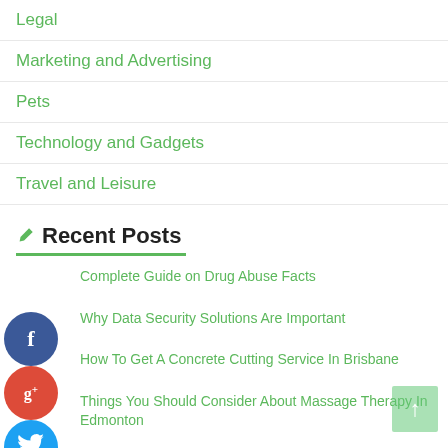Legal
Marketing and Advertising
Pets
Technology and Gadgets
Travel and Leisure
Recent Posts
Complete Guide on Drug Abuse Facts
Why Data Security Solutions Are Important
How To Get A Concrete Cutting Service In Brisbane
Things You Should Consider About Massage Therapy In Edmonton
Flying Phobia: What Causes Someone To Fear Air Travel